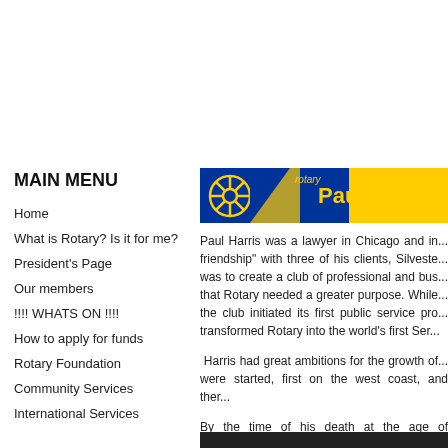[Figure (illustration): Rotary International Paul Harris Fellowship banner — blue and yellow header with Rotary wheel logo and text 'rotary' and 'Paul Harris Fel...']
MAIN MENU
Home
What is Rotary? Is it for me?
President's Page
Our members
!!!! WHATS ON !!!!
How to apply for funds
Rotary Foundation
Community Services
International Services
Paul Harris was a lawyer in Chicago and in... friendship" with three of his clients, Silveste... was to create a club of professional and bus... that Rotary needed a greater purpose. While... the club initiated its first public service pro... transformed Rotary into the world's first Ser...
Harris had great ambitions for the growth of... were started, first on the west coast, and ther...
By the time of his death at the age of seventy... members in 75 countries.